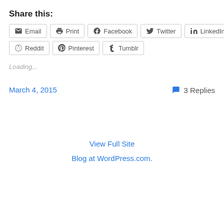Share this:
Email  Print  Facebook  Twitter  LinkedIn  Reddit  Pinterest  Tumblr
Loading...
March 4, 2015
3 Replies
View Full Site
Blog at WordPress.com.